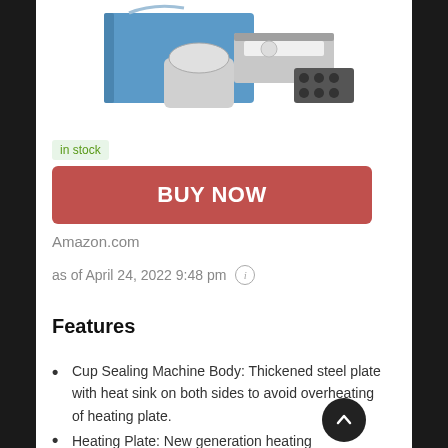[Figure (photo): Product photo of a blue cup sealing machine with a handle and circular sealing head, shown at an angle]
in stock
BUY NOW
Amazon.com
as of April 24, 2022 9:48 pm ⓘ
Features
Cup Sealing Machine Body: Thickened steel plate with heat sink on both sides to avoid overheating of heating plate.
Heating Plate: New generation heating